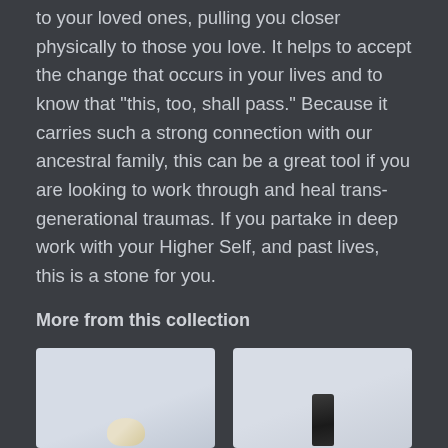to your loved ones, pulling you closer physically to those you love. It helps to accept the change that occurs in your lives and to know that "this, too, shall pass." Because it carries such a strong connection with our ancestral family, this can be a great tool if you are looking to work through and heal trans-generational traumas. If you partake in deep work with your Higher Self, and past lives, this is a stone for you.
More from this collection
[Figure (photo): Photo of a light-colored crystal or stone on a light blue/grey background]
[Figure (photo): Photo of a dark black elongated crystal or stone on a light grey/white background]